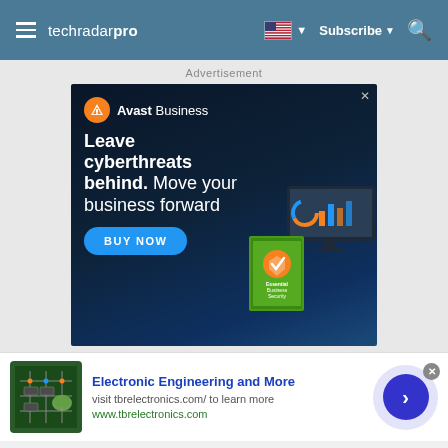techradar pro | Subscribe
Advertisement
[Figure (screenshot): Avast Business advertisement: 'Leave cyberthreats behind. Move your business forward' with BUY NOW button and Essential Business Security product image]
[Figure (infographic): Bottom advertisement: Electronic Engineering and More - visit tbrelectronics.com/ to learn more - www.tbrelectronics.com with circuit board image and arrow button]